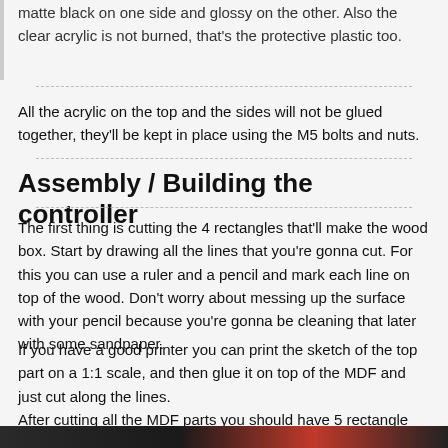matte black on one side and glossy on the other. Also the clear acrylic is not burned, that's the protective plastic too.
All the acrylic on the top and the sides will not be glued together, they'll be kept in place using the M5 bolts and nuts.
Assembly / Building the controller
The first thing is cutting the 4 rectangles that'll make the wood box. Start by drawing all the lines that you're gonna cut. For this you can use a ruler and a pencil and mark each line on top of the wood. Don't worry about messing up the surface with your pencil because you're gonna be cleaning that later with some sandpaper.
If you have a good printer you can print the sketch of the top part on a 1:1 scale, and then glue it on top of the MDF and just cut along the lines.
After cutting all the MDF parts you should have 5 rectangle pieces of MDF. One for the top part and 4 for the walls.
[Figure (photo): Bottom strip showing edge of a photo at the bottom of the page]